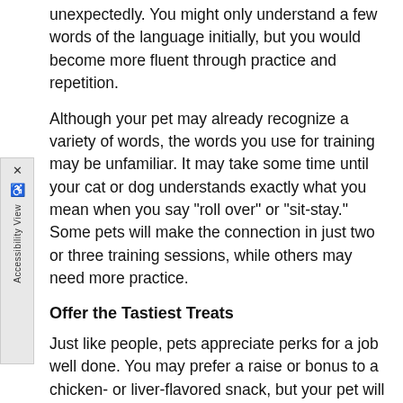unexpectedly. You might only understand a few words of the language initially, but you would become more fluent through practice and repetition.
Although your pet may already recognize a variety of words, the words you use for training may be unfamiliar. It may take some time until your cat or dog understands exactly what you mean when you say "roll over" or "sit-stay." Some pets will make the connection in just two or three training sessions, while others may need more practice.
Offer the Tastiest Treats
Just like people, pets appreciate perks for a job well done. You may prefer a raise or bonus to a chicken- or liver-flavored snack, but your pet will be perfectly happy with a treat.
Giving your pet a treat after he or she responds to a command is an excellent way to reinforce positive behavior. The same old treats your pet receives